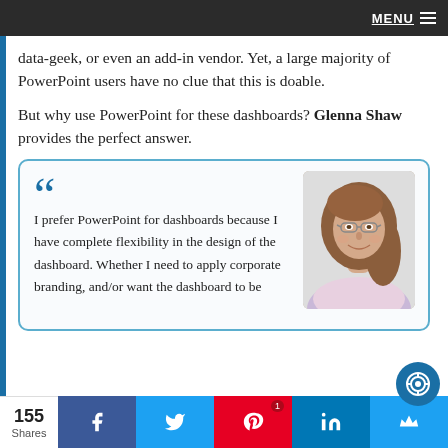MENU
data-geek, or even an add-in vendor. Yet, a large majority of PowerPoint users have no clue that this is doable.
But why use PowerPoint for these dashboards? Glenna Shaw provides the perfect answer.
[Figure (photo): Quote box with large blue quotation marks, text reading 'I prefer PowerPoint for dashboards because I have complete flexibility in the design of the dashboard. Whether I need to apply corporate branding, and/or want the dashboard to be' and a photo of a woman (Glenna Shaw) with brown hair and glasses, smiling.]
155 Shares | Facebook | Twitter | Pinterest 1 | LinkedIn | Crown